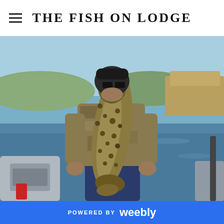THE FISH ON LODGE
[Figure (photo): Person on a boat holding a large brown trout, with a river and dry brush landscape in the background. The person wears camouflage jacket and dark pants.]
POWERED BY weebly